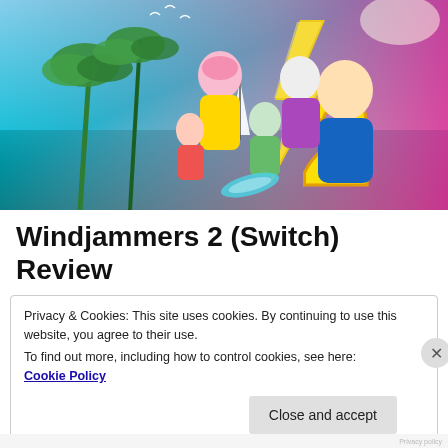[Figure (illustration): Windjammers 2 game promotional artwork showing anime-style characters against a colorful beach/sky background with the WINDJAMMERS 2 logo]
Windjammers 2 (Switch) Review
Privacy & Cookies: This site uses cookies. By continuing to use this website, you agree to their use.
To find out more, including how to control cookies, see here: Cookie Policy
Close and accept